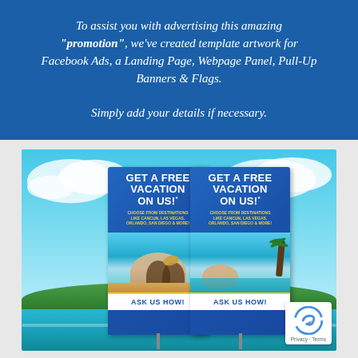To assist you with advertising this amazing "promotion", we've created template artwork for Facebook Ads, a Landing Page, Webpage Panel, Pull-Up Banners & Flags.

Simply add your details if necessary.
[Figure (photo): Two pull-up banner stands side by side showing 'GET A FREE VACATION ON US!*' promotional banners with vacation destination imagery and 'ASK US HOW!' call to action, set against a tropical beach/pool background.]